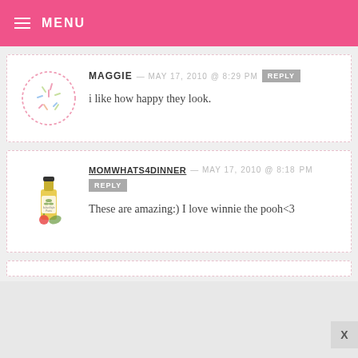MENU
MAGGIE — MAY 17, 2010 @ 8:29 PM   REPLY
i like how happy they look.
MOMWHATS4DINNER — MAY 17, 2010 @ 8:18 PM   REPLY
These are amazing:) I love winnie the pooh<3